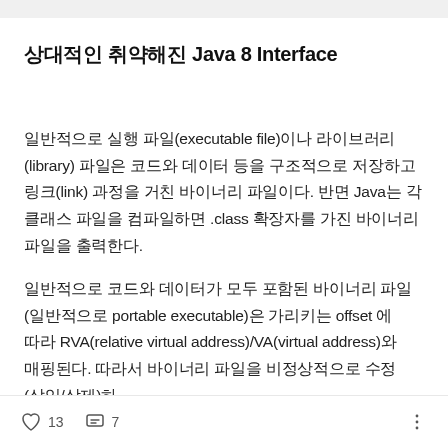상대적인 취약해진 Java 8 Interface
일반적으로 실행 파일(executable file)이나 라이브러리(library) 파일은 코드와 데이터 등을 구조적으로 저장하고 링크(link) 과정을 거친 바이너리 파일이다. 반면 Java는 각 클래스 파일을 컴파일하면 .class 확장자를 가진 바이너리 파일을 출력한다.
일반적으로 코드와 데이터가 모두 포함된 바이너리 파일(일반적으로 portable executable)은 가리키는 offset 에 따라 RVA(relative virtual address)/VA(virtual address)와 매핑된다. 따라서 바이너리 파일을 비정상적으로 수정(삽입/삭제)하
❤ 13   💬 7